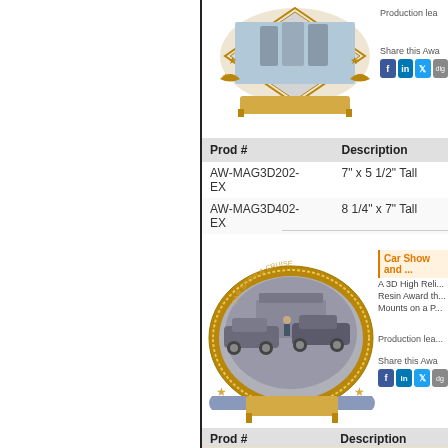[Figure (photo): Gold trophy/plaque award with stars and banner, baseball theme, top portion visible]
Production lea...
Share this Awa...
| Prod # | Description |
| --- | --- |
| AW-MAG3D202-EX | 7" x 5 1/2" Tall |
| AW-MAG3D402-EX | 8 1/4" x 7" Tall |
[Figure (photo): Oval 3D high relief resin award plaque with car show scene, gold border with stars and banner plate]
Car Show and ...
A 3D High Reli... Resin Award th... Mounts on a P...
Production lea...
Share this Awa...
| Prod # | Description |
| --- | --- |
| AW-MAG26088-EX | 8 1/4" x 7" Tall |
[Figure (photo): Bottom of page, partial orange/blue element visible]